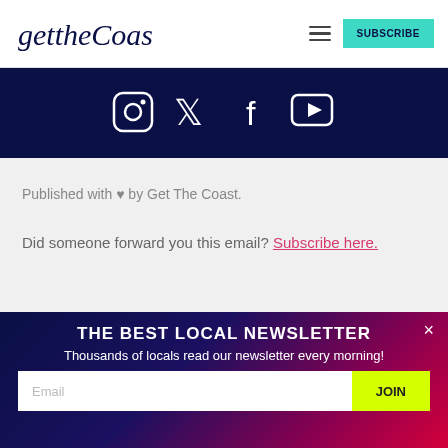gettheCoast — SUBSCRIBE
[Figure (logo): Get The Coast logo in cursive italic font]
[Figure (infographic): Social media icons: Instagram, Twitter/X, Facebook, YouTube on dark navy background]
Published with ♥ by Get The Coast.
Did someone forward you this email? Subscribe here.
THE BEST LOCAL NEWSLETTER
Thousands of locals read our newsletter every morning!
Email  JOIN